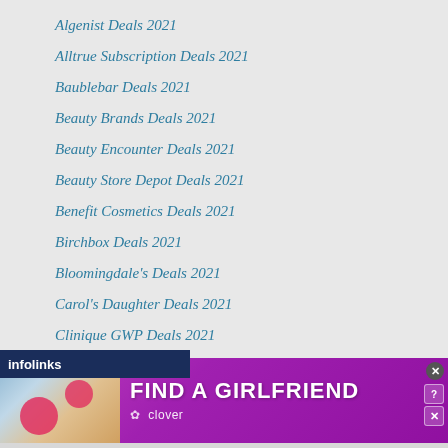Algenist Deals 2021
Alltrue Subscription Deals 2021
Baublebar Deals 2021
Beauty Brands Deals 2021
Beauty Encounter Deals 2021
Beauty Store Depot Deals 2021
Benefit Cosmetics Deals 2021
Birchbox Deals 2021
Bloomingdale's Deals 2021
Carol's Daughter Deals 2021
Clinique GWP Deals 2021
[Figure (screenshot): An advertisement banner for a dating app called Clover with text 'FIND A GIRLFRIEND' on a purple/magenta background with a photo of a woman on the left and heart graphics.]